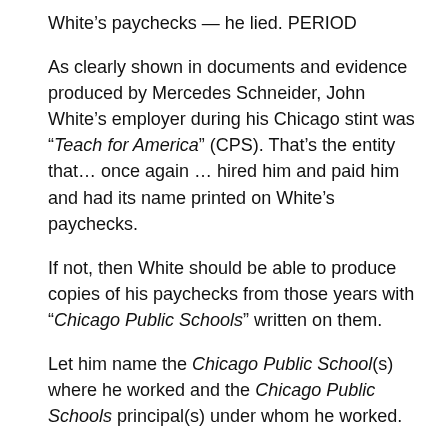White's paychecks — he lied. PERIOD
As clearly shown in documents and evidence produced by Mercedes Schneider, John White's employer during his Chicago stint was “Teach for America” (CPS). That’s the entity that… once again … hired him and paid him and had its name printed on White’s paychecks.
If not, then White should be able to produce copies of his paychecks from those years with “Chicago Public Schools” written on them.
Let him name the Chicago Public School(s) where he worked and the Chicago Public Schools principal(s) under whom he worked.
Let him produce his employment contract with